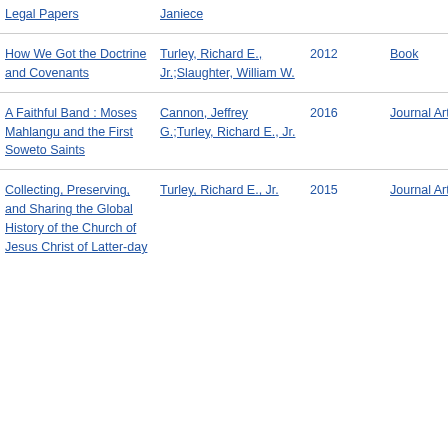| Title | Author | Year | Type |
| --- | --- | --- | --- |
| Legal Papers | Janiece |  |  |
| How We Got the Doctrine and Covenants | Turley, Richard E., Jr.;Slaughter, William W. | 2012 | Book |
| A Faithful Band : Moses Mahlangu and the First Soweto Saints | Cannon, Jeffrey G.;Turley, Richard E., Jr. | 2016 | Journal Article |
| Collecting, Preserving, and Sharing the Global History of the Church of Jesus Christ of Latter-day | Turley, Richard E., Jr. | 2015 | Journal Article |